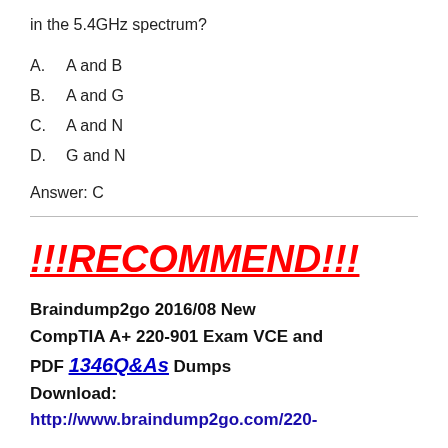in the 5.4GHz spectrum?
A.    A and B
B.    A and G
C.    A and N
D.    G and N
Answer: C
!!!RECOMMEND!!!
Braindump2go 2016/08 New CompTIA A+ 220-901 Exam VCE and PDF 1346Q&As Dumps Download: http://www.braindump2go.com/220-